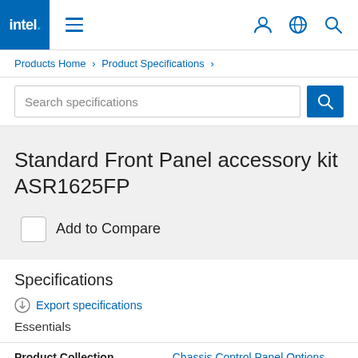intel. ≡ (navigation icons)
Products Home › Product Specifications ›
Search specifications
Standard Front Panel accessory kit ASR1625FP
Add to Compare
Specifications
Export specifications
Essentials
| Product Collection |  |
| --- | --- |
| Product Collection | Chassis Control Panel Options |